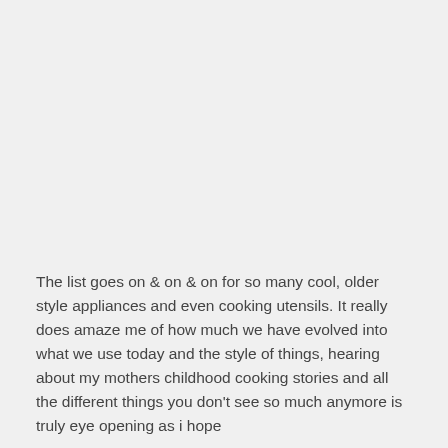The list goes on & on & on for so many cool, older style appliances and even cooking utensils. It really does amaze me of how much we have evolved into what we use today and the style of things, hearing about my mothers childhood cooking stories and all the different things you don't see so much anymore is truly eye opening as i hope